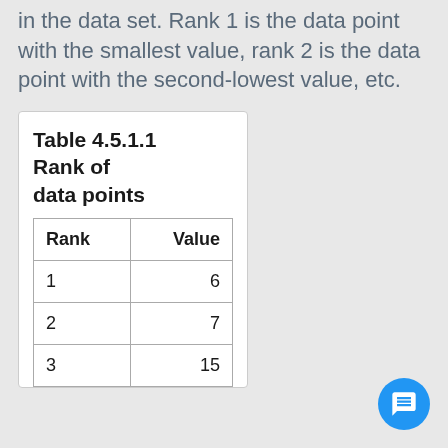in the data set. Rank 1 is the data point with the smallest value, rank 2 is the data point with the second-lowest value, etc.
| Rank | Value |
| --- | --- |
| 1 | 6 |
| 2 | 7 |
| 3 | 15 |